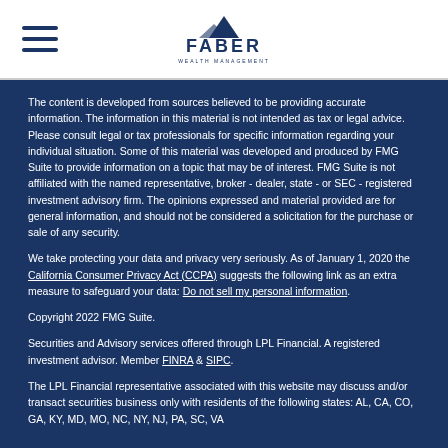Faber Wealth Management
The content is developed from sources believed to be providing accurate information. The information in this material is not intended as tax or legal advice. Please consult legal or tax professionals for specific information regarding your individual situation. Some of this material was developed and produced by FMG Suite to provide information on a topic that may be of interest. FMG Suite is not affiliated with the named representative, broker - dealer, state - or SEC - registered investment advisory firm. The opinions expressed and material provided are for general information, and should not be considered a solicitation for the purchase or sale of any security.
We take protecting your data and privacy very seriously. As of January 1, 2020 the California Consumer Privacy Act (CCPA) suggests the following link as an extra measure to safeguard your data: Do not sell my personal information.
Copyright 2022 FMG Suite.
Securities and Advisory services offered through LPL Financial. A registered investment advisor. Member FINRA & SIPC.
The LPL Financial representative associated with this website may discuss and/or transact securities business only with residents of the following states: AL, CA, CO, GA, KY, MD, MO, NC, NY, NJ, PA, SC, VA